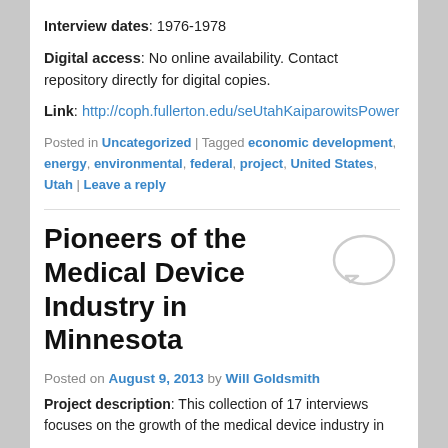Interview dates: 1976-1978
Digital access: No online availability. Contact repository directly for digital copies.
Link: http://coph.fullerton.edu/seUtahKaiparowitsPowerProject.asp
Posted in Uncategorized | Tagged economic development, energy, environmental, federal, project, United States, Utah | Leave a reply
Pioneers of the Medical Device Industry in Minnesota
Posted on August 9, 2013 by Will Goldsmith
Project description: This collection of 17 interviews focuses on the growth of the medical device industry in